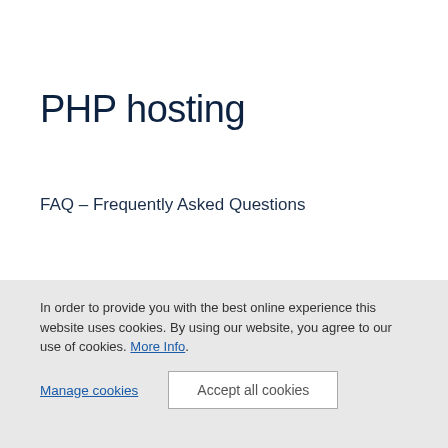PHP hosting
FAQ – Frequently Asked Questions
How does PHP work?
In order to provide you with the best online experience this website uses cookies. By using our website, you agree to our use of cookies. More Info.
Manage cookies
Accept all cookies